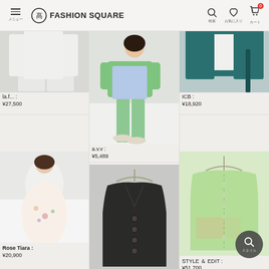FASHION SQUARE — navigation header with menu, search, wishlist, cart (0)
[Figure (photo): White outfit (blazer and pants) on female model, cropped partial view]
la.f... :
¥27,500
[Figure (photo): Female model wearing green cardigan and green pants with blue shirt underneath, full body side view]
a.v.v :
¥5,489
[Figure (photo): Dark teal green outfit top portion on model, partial upper body view]
ICB :
¥18,920
[Figure (photo): Female model in white cardigan over floral dress, standing indoors]
Rose Tiara :
¥20,900
[Figure (photo): Black knit cardigan on hanger, V-neck style with large buttons]
[Figure (photo): Light green sheer oversized blouse/jacket on hanger]
STYLE ＆ EDIT :
¥51,700